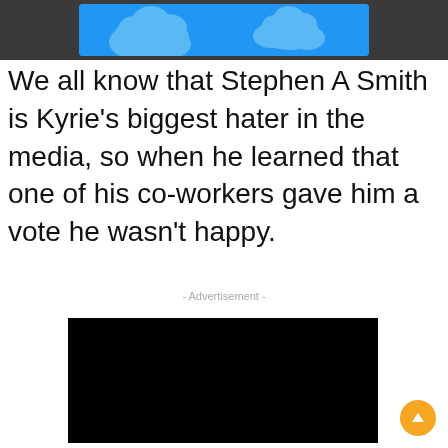[Figure (illustration): Dark grey top bar with a blue banner containing white cloud illustrations]
We all know that Stephen A Smith is Kyrie's biggest hater in the media, so when he learned that one of his co-workers gave him a vote he wasn't happy.
- Advertisement -
[Figure (other): Black video player rectangle]